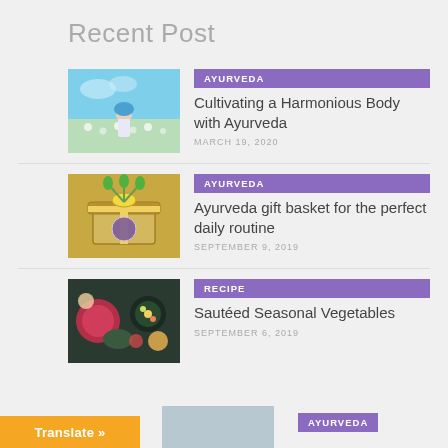Recent Post
AYURVEDA | Cultivating a Harmonious Body with Ayurveda | MARCH 19, 2020
AYURVEDA | Ayurveda gift basket for the perfect daily routine | SEPTEMBER 9, 2019
RECIPE | Sautéed Seasonal Vegetables | SEPTEMBER 6, 2019
AYURVEDA (partial)